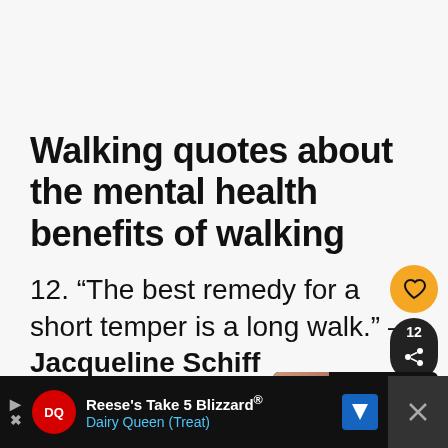Walking quotes about the mental health benefits of walking
12. “The best remedy for a short temper is a long walk.” – Jacqueline Schiff
[Figure (other): Orange heart/like button circle]
[Figure (other): Dark share button with count 12 and share icon]
[Figure (other): What's Next panel showing Motivational Weight Loss...]
[Figure (other): Dairy Queen advertisement banner for Reese's Take 5 Blizzard]